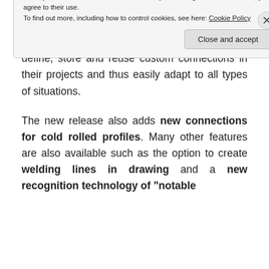It has many new innovations: first, the ability to create custom connections allowing users to define, store and reuse custom connections in their projects and thus easily adapt to all types of situations.
The new release also adds new connections for cold rolled profiles. Many other features are also available such as the option to create welding lines in drawing and a new recognition technology of "notable...
Privacy & Cookies: This site uses cookies. By continuing to use this website, you agree to their use.
To find out more, including how to control cookies, see here: Cookie Policy
[Close and accept]